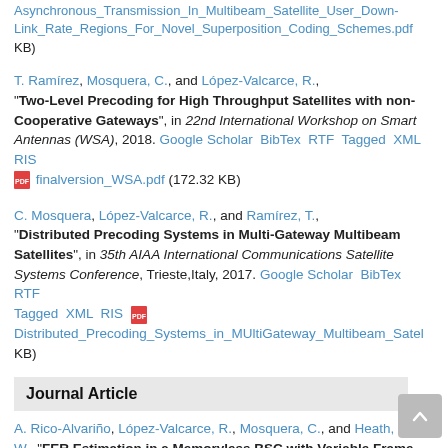Asynchronous_Transmission_In_Multibeam_Satellite_User_Down-Link_Rate_Regions_For_Novel_Superposition_Coding_Schemes.pdf KB)
T. Ramírez, Mosquera, C., and López-Valcarce, R., "Two-Level Precoding for High Throughput Satellites with non-Cooperative Gateways", in 22nd International Workshop on Smart Antennas (WSA), 2018. Google Scholar BibTex RTF Tagged XML RIS finalversion_WSA.pdf (172.32 KB)
C. Mosquera, López-Valcarce, R., and Ramírez, T., "Distributed Precoding Systems in Multi-Gateway Multibeam Satellites", in 35th AIAA International Communications Satellite Systems Conference, Trieste,Italy, 2017. Google Scholar BibTex RTF Tagged XML RIS Distributed_Precoding_Systems_in_MUltiGateway_Multibeam_Satel KB)
Journal Article
A. Rico-Alvariño, López-Valcarce, R., Mosquera, C., and Heath, Jr., R. W., "FER Estimation in a Memoryless BSC with Variable Frame Length and